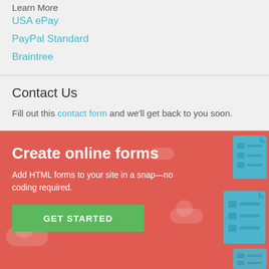Learn More
USA ePay
PayPal Standard
Braintree
Contact Us
Fill out this contact form and we'll get back to you soon.
[Figure (illustration): Promotional banner for SurveyMonkey/Momentive online forms. Red/coral background with illustrated form icons and cloud decorations. Features title 'Create online forms', subtitle 'Add HTML forms to your site in a snap—no coding required.', and a green GET STARTED button.]
Copyright © 1999-2022 Momentive